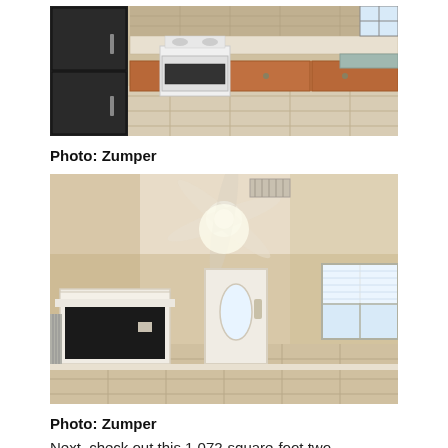[Figure (photo): Interior kitchen photo showing black refrigerator, white stove/range, wood cabinets, tile floor, and stone backsplash.]
Photo: Zumper
[Figure (photo): Interior living room photo showing ceiling fan, white fireplace mantel, front door with oval glass, window, and tile floor.]
Photo: Zumper
Next, check out this 1,072-square-foot two-bedroom, one-bathroom residence that's